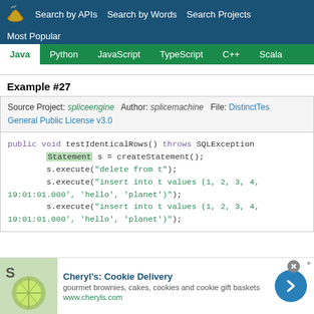Search by APIs   Search by Words   Search Projects   Most Popular
Java   Python   JavaScript   TypeScript   C++   Scala
Example #27
Source Project: spliceengine   Author: splicemachine   File: DistinctTest...   General Public License v3.0
public void testIdenticalRows() throws SQLException
    Statement s = createStatement();
    s.execute("delete from t");
    s.execute("insert into t values (1, 2, 3, 4, 19:01:01.000', 'hello', 'planet')");
    s.execute("insert into t values (1, 2, 3, 4, 19:01:01.000', 'hello', 'planet')");
[Figure (screenshot): Advertisement for Cheryl's Cookie Delivery with image of cookies/lime, text and a blue arrow button]